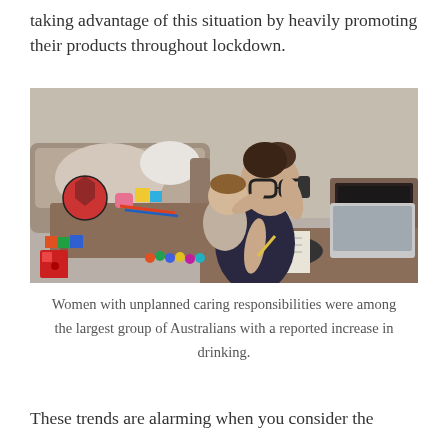taking advantage of this situation by heavily promoting their products throughout lockdown.
[Figure (photo): A woman wearing glasses holding a toddler, talking on a phone while writing at a desk. The desk has a laptop, mouse, and notebook. The floor around her is scattered with colourful toys including a ball, blocks, and other children's toys. A couch is visible in the background.]
Women with unplanned caring responsibilities were among the largest group of Australians with a reported increase in drinking.
These trends are alarming when you consider the